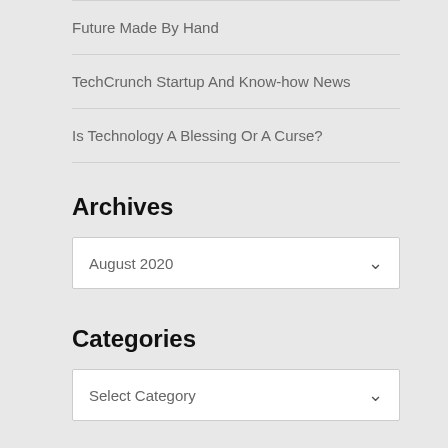Future Made By Hand
TechCrunch Startup And Know-how News
Is Technology A Blessing Or A Curse?
Archives
August 2020
Categories
Select Category
About Us
Sitemap